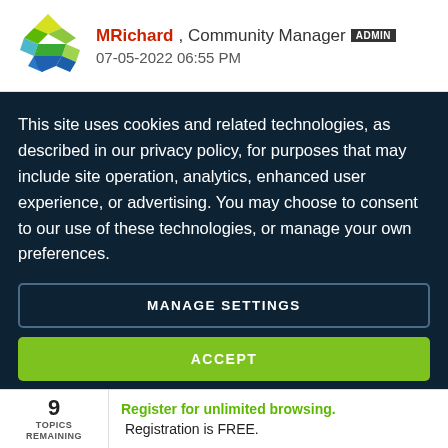[Figure (logo): Diamond/kite pattern logo with green and blue colored tiles]
MRichard, Community Manager ADMIN
07-05-2022 06:55 PM
This site uses cookies and related technologies, as described in our privacy policy, for purposes that may include site operation, analytics, enhanced user experience, or advertising. You may choose to consent to our use of these technologies, or manage your own preferences.
MANAGE SETTINGS
ACCEPT
9
TOPICS
REMAINING
Register for unlimited browsing. Registration is FREE.